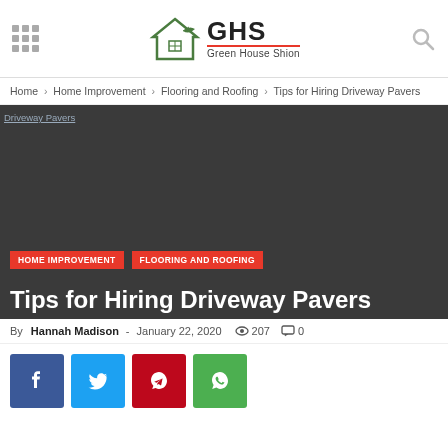GHS Green House Shion
Home › Home Improvement › Flooring and Roofing › Tips for Hiring Driveway Pavers
[Figure (photo): Dark hero image for article about Driveway Pavers with orange category tags HOME IMPROVEMENT and FLOORING AND ROOFING, and bold white title 'Tips for Hiring Driveway Pavers']
By Hannah Madison - January 22, 2020  207  0
Social share buttons: Facebook, Twitter, Pinterest, WhatsApp